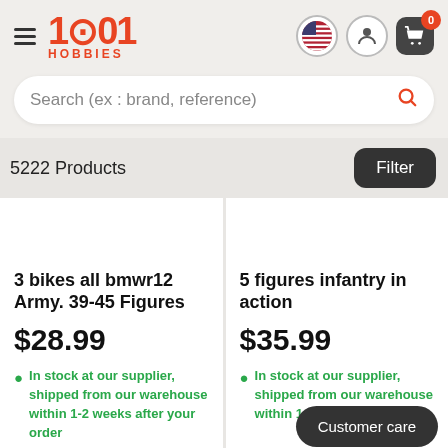1001 HOBBIES
Search (ex : brand, reference)
5222 Products
Filter
3 bikes all bmwr12 Army. 39-45 Figures
$28.99
In stock at our supplier, shipped from our warehouse within 1-2 weeks after your order
5 figures infantry in action
$35.99
In stock at our supplier, shipped from our warehouse within 1-2 weeks after your order
Customer care